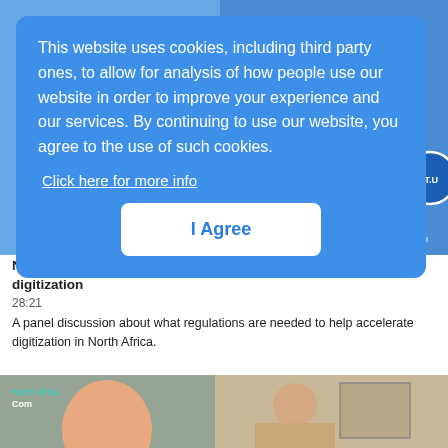[Figure (screenshot): Website screenshot showing a cookie consent overlay on an ITU (International Telecommunication Union) webpage, with content about North Africa Com 2022 panel discussion visible beneath.]
This website uses cookies, including third party ones, to allow for analysis of how people use our website in order to improve your experience and our services. By continuing to use our website, you agree to the use of such cookies.
Click here for more info
I Agree
North Africa Com 2022: Enabling regulation to accelerate digitization
28:21
A panel discussion about what regulations are needed to help accelerate digitization in North Africa.
[Figure (screenshot): Preview thumbnail for North Africa Com video, showing two participants in a video call — one person with head covering on left, and a woman with glasses on right.]